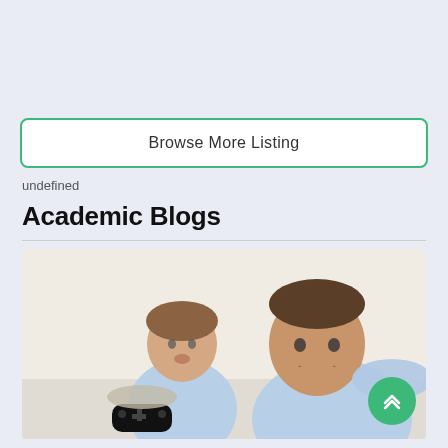Browse More Listing
undefined
Academic Blogs
[Figure (photo): A man and a child sitting together playing video games. The child is holding a game controller and appears to be focused. The man is smiling. Both are wearing light blue shirts. Background is bright and light.]